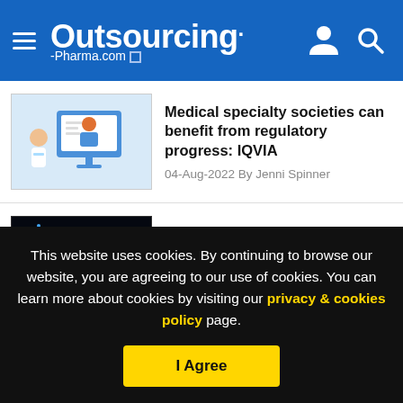Outsourcing-Pharma.com
Medical specialty societies can benefit from regulatory progress: IQVIA
04-Aug-2022 By Jenni Spinner
Boehringer, Seqster ink 3-year health data deal to accelerate research
04-Aug-2022 By Nick Taylor
This website uses cookies. By continuing to browse our website, you are agreeing to our use of cookies. You can learn more about cookies by visiting our privacy & cookies policy page.